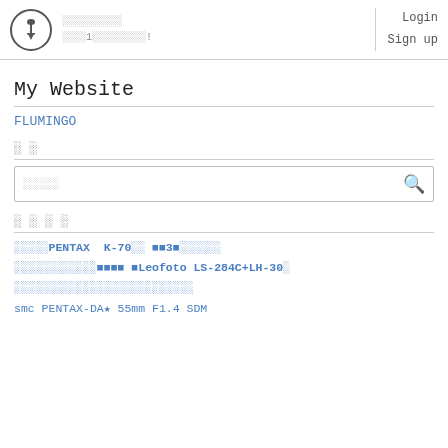My Website - FLUMINGO | Login Sign up
My Website
FLUMINGO
検索
キーワード検索
最近の記事
カメラ初心者がPENTAX K-70を買って撮影3年分まとめてみた
アウトドア撮影に使える三脚レビュー Leofoto LS-284C+LH-30の
カメラ初心者がミラーレスを購入してから気づいたメリット・デメリットをまとめてみた
smc PENTAX-DA★ 55mm F1.4 SDM